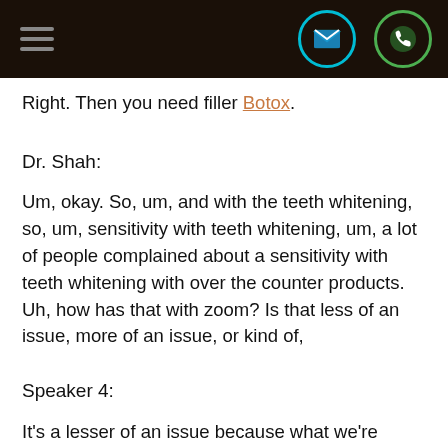[navigation bar with hamburger menu, email icon, phone icon]
Right. Then you need filler Botox.
Dr. Shah:
Um, okay. So, um, and with the teeth whitening, so, um, sensitivity with teeth whitening, um, a lot of people complained about a sensitivity with teeth whitening with over the counter products. Uh, how has that with zoom? Is that less of an issue, more of an issue, or kind of,
Speaker 4:
It's a lesser of an issue because what we're doing, we're putting like a liquid dam or like a liquid barrier